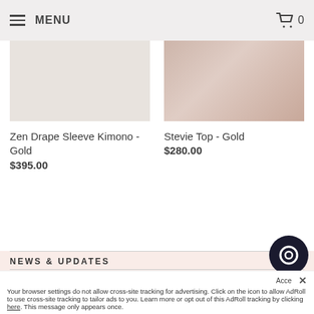MENU | 0
[Figure (photo): Product image for Zen Drape Sleeve Kimono - Gold (light grey/white background)]
Zen Drape Sleeve Kimono - Gold
$395.00
[Figure (photo): Product image for Stevie Top - Gold (model wearing gold top)]
Stevie Top - Gold
$280.00
NEWS & UPDATES
Sign up to get the latest on sales, new releases and more...
Your browser settings do not allow cross-site tracking for advertising. Click on the icon to allow AdRoll to use cross-site tracking to tailor ads to you. Learn more or opt out of this AdRoll tracking by clicking here. This message only appears once.